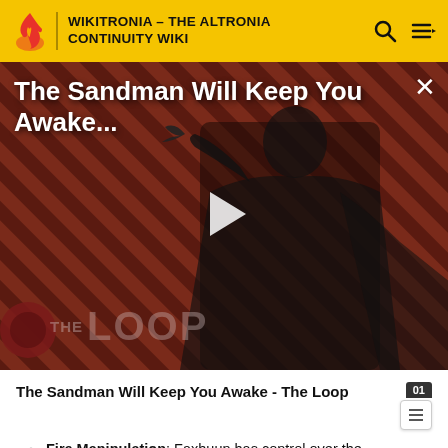WIKITRONIA – THE ALTRONIA CONTINUITY WIKI
[Figure (screenshot): Video thumbnail for 'The Sandman Will Keep You Awake...' with a dark-cloaked figure on a red diagonal-striped background, THE LOOP branding at bottom left, and a play button in the center.]
The Sandman Will Keep You Awake - The Loop
Fire Manipulation: Faxhuun has control over the movement of flames and can cause them to burn where he wants them to, in the direction he